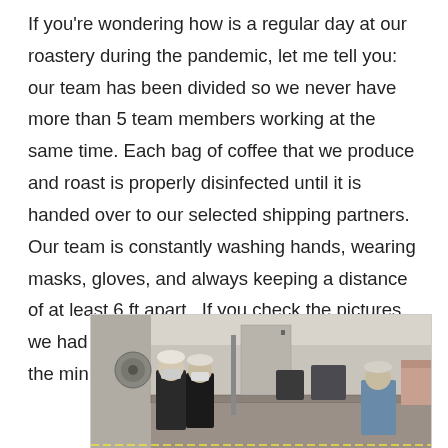If you're wondering how is a regular day at our roastery during the pandemic, let me tell you: our team has been divided so we never have more than 5 team members working at the same time. Each bag of coffee that we produce and roast is properly disinfected until it is handed over to our selected shipping partners. Our team is constantly washing hands, wearing masks, gloves, and always keeping a distance of at least 6 ft apart.  If you check the pictures, we had marked the floors so they know what's the minimum distance they have to keep.
[Figure (photo): Interior of a coffee roastery with workers wearing masks and caps, working at a counter. Industrial kitchen/roastery setting with equipment visible.]